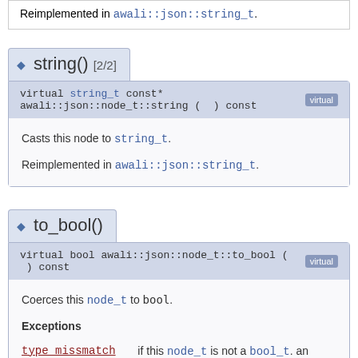Reimplemented in awali::json::string_t.
◆ string() [2/2]
virtual string_t const* awali::json::node_t::string ( ) const  [virtual]
Casts this node to string_t.
Reimplemented in awali::json::string_t.
◆ to_bool()
virtual bool awali::json::node_t::to_bool ( ) const  [virtual]
Coerces this node_t to bool.
Exceptions
|  |  |
| --- | --- |
| type_missmatch | if this node_t is not a bool_t. an |